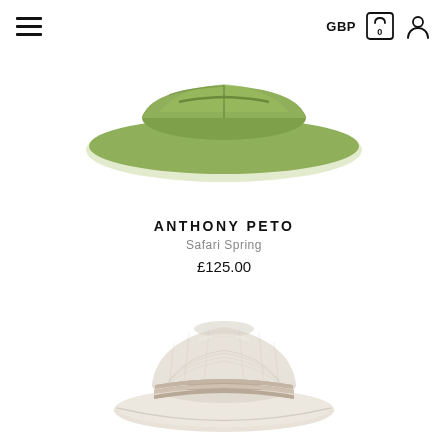GBP [cart icon] [user icon]
[Figure (photo): Top-down view of a green wide-brim safari hat, shown flat against white background]
ANTHONY PETO
Safari Spring
£125.00
[Figure (photo): White/cream woven straw trilby hat with beige and cream grosgrain band, shown at slight angle on white background]